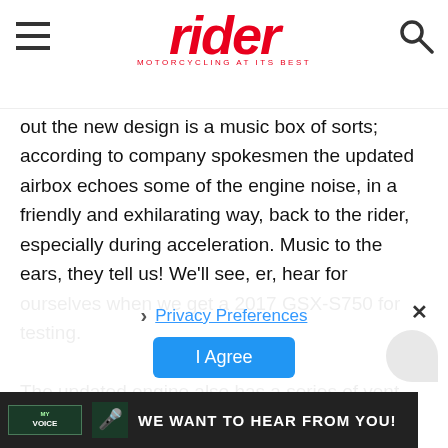rider — MOTORCYCLING AT ITS BEST
out the new design is a music box of sorts; according to company spokesmen the updated airbox echoes some of the engine noise, in a friendly and exhilarating way, back to the rider, especially during acceleration. Music to the ears, they tell us! We'll see, er, hear for ourselves when we get a 2017 GSX-S750 for testing.

The updated engine also has a series of vent holes at the base of the cylinder cases, which Suzuki says reduce oil pumping within the crankcase for less drag.
Privacy Preferences
I Agree
[Figure (screenshot): WE WANT TO HEAR FROM YOU! banner with MY VOICE logo on dark background]